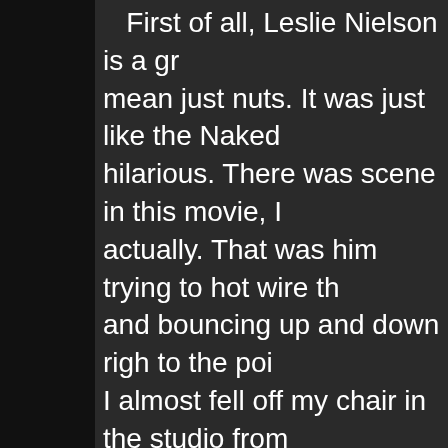First of all, Leslie Nielson is a gr mean just nuts. It was just like the Naked hilarious. There was scene in this movie, I actually. That was him trying to hot wire th and bouncing up and down righ to the poir I almost fell off my chair in the studio from in the hospital which was another scene h all he wanted to do was print the informatio and called him a name just randomly and Same goes with the car sign as well. Back porta potty unsure what was going on, I fe
Anyways to the review part as I w different things but if you are feeling down recommend this movie as it is worth your hilarious movie and worth it. I give this mo you laughing the entire time and it has tha